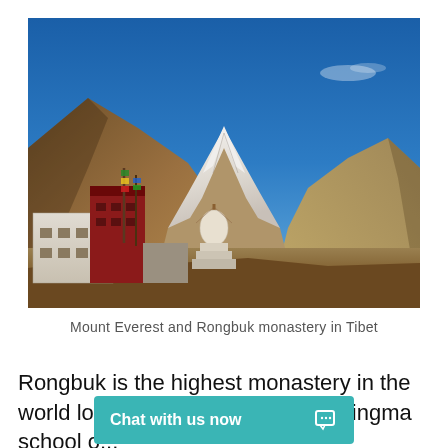[Figure (photo): Photograph of Mount Everest viewed from Rongbuk monastery area in Tibet. The snow-capped peak dominates the background with clear blue sky. Brown rocky mountains flank both sides. In the foreground, white and red Tibetan monastery buildings are visible along with a white stupa and prayer flags.]
Mount Everest and Rongbuk monastery in Tibet
Rongbuk is the highest monastery in the world located at 5,050 met... to Nyingma school o...